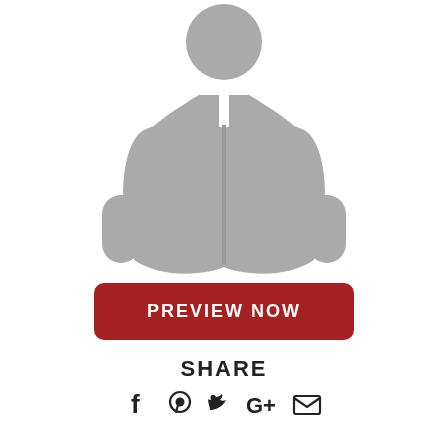[Figure (illustration): Gray silhouette icon of a person reading an open book, with hands visible on both sides of the book]
PREVIEW NOW
SHARE
[Figure (infographic): Social media icons: Facebook, Pinterest, Twitter, Google+, Email]